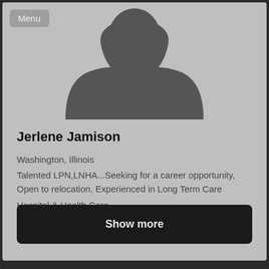Menu
[Figure (illustration): Generic placeholder profile silhouette of a person on a gray background]
Jerlene Jamison
Washington, Illinois
Talented LPN,LNHA...Seeking for a career opportunity, Open to relocation, Experienced in Long Term Care
Hospital & Health Care
Show more